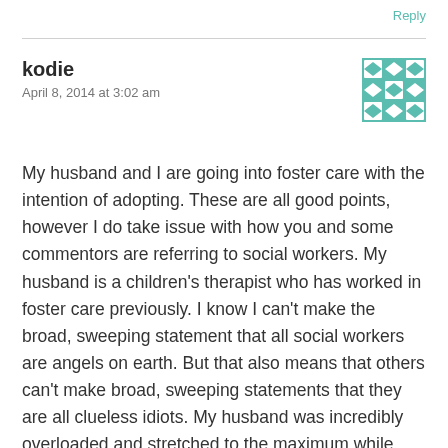Reply
kodie
April 8, 2014 at 3:02 am
My husband and I are going into foster care with the intention of adopting. These are all good points, however I do take issue with how you and some commentors are referring to social workers. My husband is a children's therapist who has worked in foster care previously. I know I can't make the broad, sweeping statement that all social workers are angels on earth. But that also means that others can't make broad, sweeping statements that they are all clueless idiots. My husband was incredibly overloaded and stretched to the maximum while working in foster care. And the things he witnessed